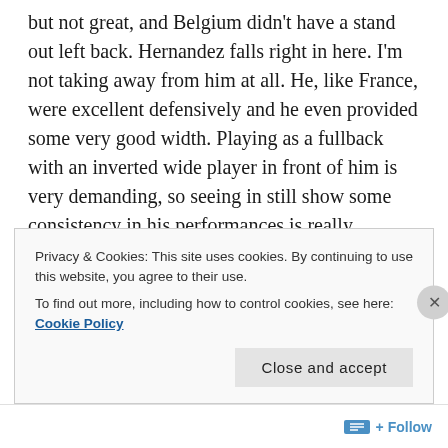but not great, and Belgium didn't have a stand out left back. Hernandez falls right in here. I'm not taking away from him at all. He, like France, were excellent defensively and he even provided some very good width. Playing as a fullback with an inverted wide player in front of him is very demanding, so seeing in still show some consistency in his performances is really impressive. The young defender was averaging 2.3 tackles per game, just highlighting how good he was in his own half. A good tournament from a player who still has plenty of promise.
Privacy & Cookies: This site uses cookies. By continuing to use this website, you agree to their use.
To find out more, including how to control cookies, see here: Cookie Policy
Close and accept